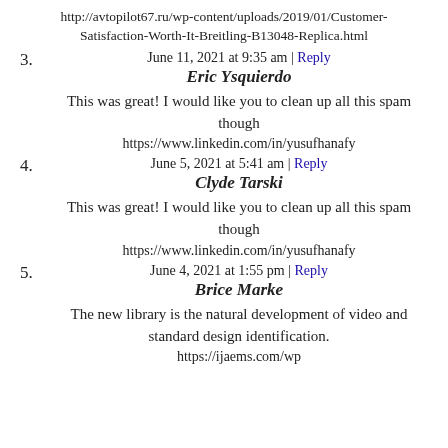http://avtopilot67.ru/wp-content/uploads/2019/01/Customer-Satisfaction-Worth-It-Breitling-B13048-Replica.html
3. June 11, 2021 at 9:35 am | Reply
Eric Ysquierdo
This was great! I would like you to clean up all this spam though
https://www.linkedin.com/in/yusufhanafy
4. June 5, 2021 at 5:41 am | Reply
Clyde Tarski
This was great! I would like you to clean up all this spam though
https://www.linkedin.com/in/yusufhanafy
5. June 4, 2021 at 1:55 pm | Reply
Brice Marke
The new library is the natural development of video and standard design identification.
https://ijaems.com/wp...